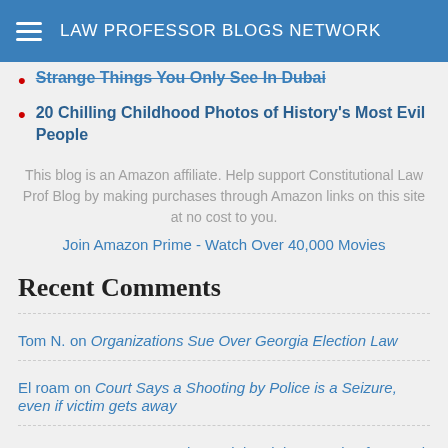LAW PROFESSOR BLOGS NETWORK
Strange Things You Only See In Dubai
20 Chilling Childhood Photos of History's Most Evil People
This blog is an Amazon affiliate. Help support Constitutional Law Prof Blog by making purchases through Amazon links on this site at no cost to you.
Join Amazon Prime - Watch Over 40,000 Movies
Recent Comments
Tom N. on Organizations Sue Over Georgia Election Law
El roam on Court Says a Shooting by Police is a Seizure, even if victim gets away
Bruce on SCOTUS Broadens Ministerial Exemption from Anti-Discrimination Laws